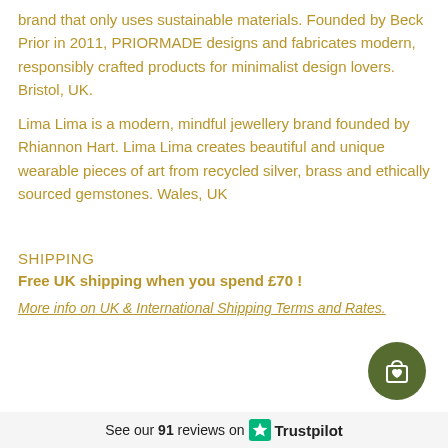brand that only uses sustainable materials. Founded by Beck Prior in 2011, PRIORMADE designs and fabricates modern, responsibly crafted products for minimalist design lovers. Bristol, UK.
Lima Lima is a modern, mindful jewellery brand founded by Rhiannon Hart. Lima Lima creates beautiful and unique wearable pieces of art from recycled silver, brass and ethically sourced gemstones. Wales, UK
SHIPPING
Free UK shipping when you spend £70 !
More info on UK & International Shipping Terms and Rates.
[Figure (illustration): Dark olive green circular button with shopping bag and heart icon]
See our 91 reviews on Trustpilot